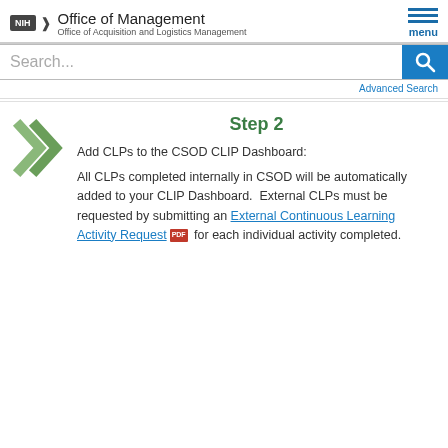NIH Office of Management / Office of Acquisition and Logistics Management
Search...
Advanced Search
Step 2
Add CLPs to the CSOD CLIP Dashboard:
All CLPs completed internally in CSOD will be automatically added to your CLIP Dashboard.  External CLPs must be requested by submitting an External Continuous Learning Activity Request for each individual activity completed.